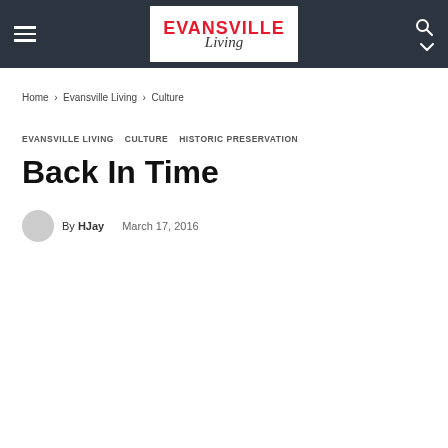Evansville Living — navigation bar with hamburger menu, logo, search icon
Home › Evansville Living › Culture
EVANSVILLE LIVING  CULTURE  HISTORIC PRESERVATION
Back In Time
By HJay  March 17, 2016